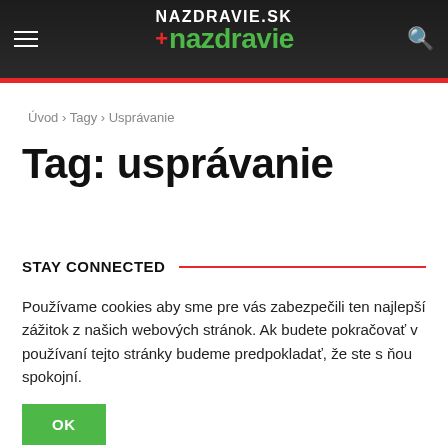NAZDRAVIE.SK — nazdravie (logo)
Úvod › Tagy › Usprávanie
Tag: usprávanie
STAY CONNECTED
Používame cookies aby sme pre vás zabezpečili ten najlepší zážitok z našich webových stránok. Ak budete pokračovať v používaní tejto stránky budeme predpokladať, že ste s ňou spokojní.
OK